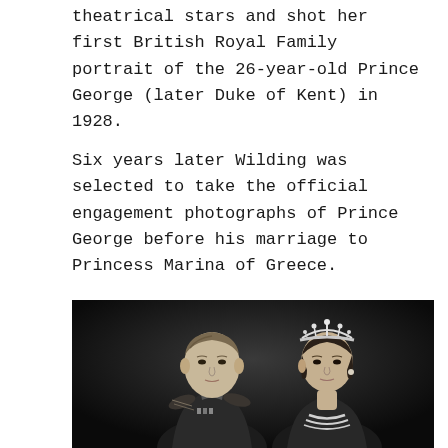theatrical stars and shot her first British Royal Family portrait of the 26-year-old Prince George (later Duke of Kent) in 1928.
Six years later Wilding was selected to take the official engagement photographs of Prince George before his marriage to Princess Marina of Greece.
[Figure (photo): Black and white formal portrait photograph of Prince George (later Duke of Kent) in military uniform with epaulettes, and Princess Marina of Greece wearing a pearl tiara and pearl necklace.]